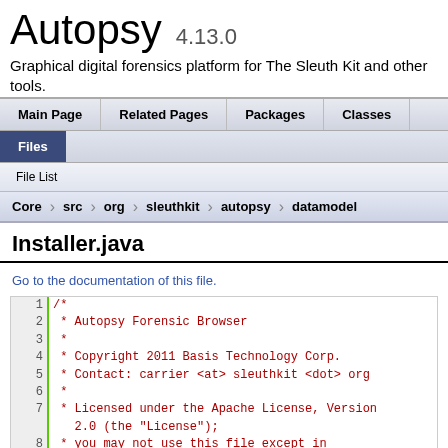Autopsy 4.13.0
Graphical digital forensics platform for The Sleuth Kit and other tools.
Files
File List
Core › src › org › sleuthkit › autopsy › datamodel
Installer.java
Go to the documentation of this file.
1  /*
2   * Autopsy Forensic Browser
3   *
4   * Copyright 2011 Basis Technology Corp.
5   * Contact: carrier <at> sleuthkit <dot> org
6   *
7   * Licensed under the Apache License, Version 2.0 (the "License");
8   * you may not use this file except in